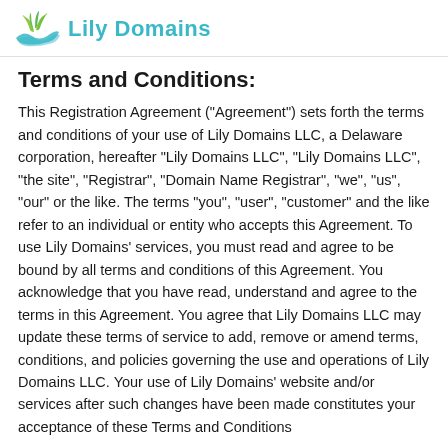Lily Domains
Terms and Conditions:
This Registration Agreement ("Agreement") sets forth the terms and conditions of your use of Lily Domains LLC, a Delaware corporation, hereafter "Lily Domains LLC", "Lily Domains LLC", "the site", "Registrar", "Domain Name Registrar", "we", "us", "our" or the like. The terms "you", "user", "customer" and the like refer to an individual or entity who accepts this Agreement. To use Lily Domains' services, you must read and agree to be bound by all terms and conditions of this Agreement. You acknowledge that you have read, understand and agree to the terms in this Agreement. You agree that Lily Domains LLC may update these terms of service to add, remove or amend terms, conditions, and policies governing the use and operations of Lily Domains LLC. Your use of Lily Domains' website and/or services after such changes have been made constitutes your acceptance of these Terms and Conditions